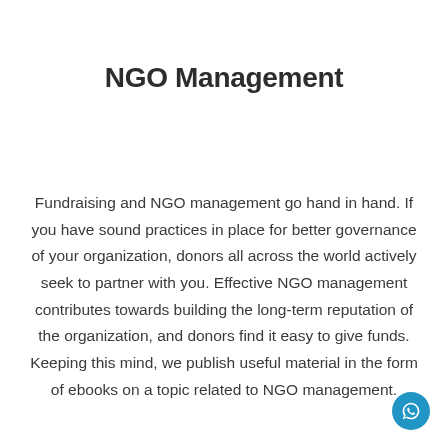NGO Management
Fundraising and NGO management go hand in hand. If you have sound practices in place for better governance of your organization, donors all across the world actively seek to partner with you. Effective NGO management contributes towards building the long-term reputation of the organization, and donors find it easy to give funds. Keeping this mind, we publish useful material in the form of ebooks on a topic related to NGO management.